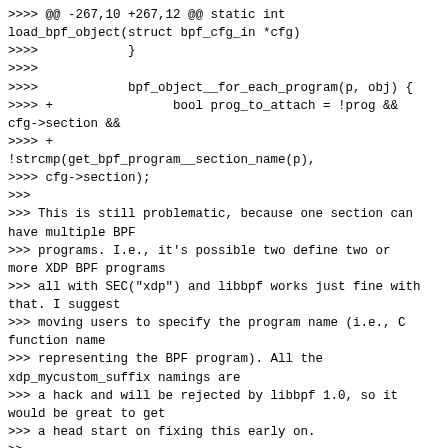>>>> @@ -267,10 +267,12 @@ static int load_bpf_object(struct bpf_cfg_in *cfg)
>>>>            }
>>>>
>>>>            bpf_object__for_each_program(p, obj) {
>>>> +                bool prog_to_attach = !prog && cfg->section &&
>>>> +                !strcmp(get_bpf_program__section_name(p),
>>>> cfg->section);
>>>
>>> This is still problematic, because one section can have multiple BPF
>>> programs. I.e., it's possible two define two or more XDP BPF programs
>>> all with SEC("xdp") and libbpf works just fine with that. I suggest
>>> moving users to specify the program name (i.e., C function name
>>> representing the BPF program). All the xdp_mycustom_suffix namings are
>>> a hack and will be rejected by libbpf 1.0, so it would be great to get
>>> a head start on fixing this early on.
>>
>> Thanks for bringing this up. Currently, there is no way to specify a
>> function name with "tc exec bpf" (only a section name via the "sec"
>> arg). So probably, we should just add another arg to